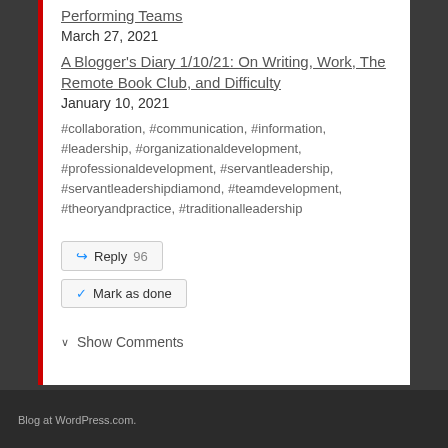Performing Teams
March 27, 2021
A Blogger's Diary 1/10/21: On Writing, Work, The Remote Book Club, and Difficulty
January 10, 2021
#collaboration, #communication, #information, #leadership, #organizationaldevelopment, #professionaldevelopment, #servantleadership, #servantleadershipdiamond, #teamdevelopment, #theoryandpractice, #traditionalleadership
Reply 96
Mark as done
Show Comments
Blog at WordPress.com.